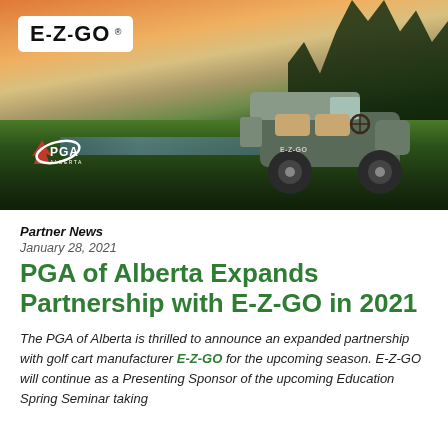[Figure (photo): Hero image showing an E-Z-GO golf cart on a golf course at sunset with E-Z-GO logo and PGA Alberta logo overlaid]
Partner News
January 28, 2021
PGA of Alberta Expands Partnership with E-Z-GO in 2021
The PGA of Alberta is thrilled to announce an expanded partnership with golf cart manufacturer E-Z-GO for the upcoming season. E-Z-GO will continue as a Presenting Sponsor of the upcoming Education Spring Seminar taking